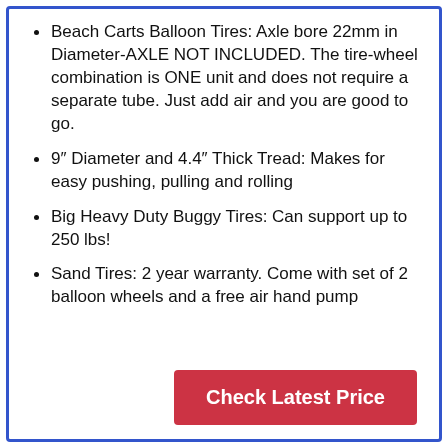Beach Carts Balloon Tires: Axle bore 22mm in Diameter-AXLE NOT INCLUDED. The tire-wheel combination is ONE unit and does not require a separate tube. Just add air and you are good to go.
9″ Diameter and 4.4″ Thick Tread: Makes for easy pushing, pulling and rolling
Big Heavy Duty Buggy Tires: Can support up to 250 lbs!
Sand Tires: 2 year warranty. Come with set of 2 balloon wheels and a free air hand pump
Check Latest Price